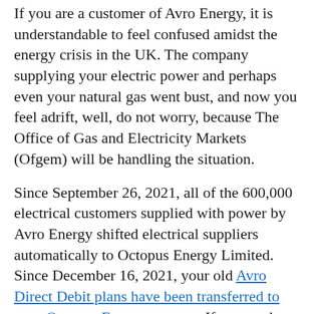If you are a customer of Avro Energy, it is understandable to feel confused amidst the energy crisis in the UK. The company supplying your electric power and perhaps even your natural gas went bust, and now you feel adrift, well, do not worry, because The Office of Gas and Electricity Markets (Ofgem) will be handling the situation.
Since September 26, 2021, all of the 600,000 electrical customers supplied with power by Avro Energy shifted electrical suppliers automatically to Octopus Energy Limited. Since December 16, 2021, your old Avro Direct Debit plans have been transferred to your Octopus Energy account. If you made Direct Debit payments to your old account, these will be shortly transferred to your Octopus Balance.